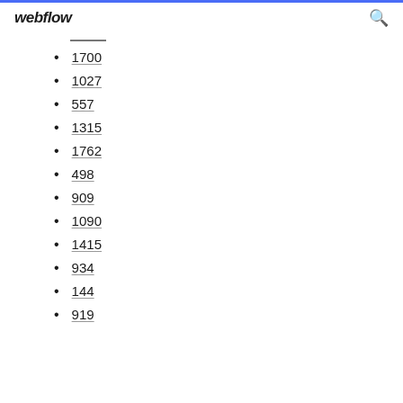webflow
1700
1027
557
1315
1762
498
909
1090
1415
934
144
919